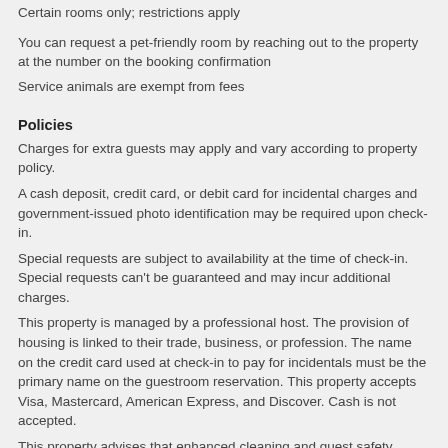Certain rooms only; restrictions apply
You can request a pet-friendly room by reaching out to the property at the number on the booking confirmation
Service animals are exempt from fees
Policies
Charges for extra guests may apply and vary according to property policy.
A cash deposit, credit card, or debit card for incidental charges and government-issued photo identification may be required upon check-in.
Special requests are subject to availability at the time of check-in. Special requests can't be guaranteed and may incur additional charges.
This property is managed by a professional host. The provision of housing is linked to their trade, business, or profession. The name on the credit card used at check-in to pay for incidentals must be the primary name on the guestroom reservation. This property accepts Visa, Mastercard, American Express, and Discover. Cash is not accepted.
This property advises that enhanced cleaning and guest safety measures are currently in place. Disinfectant is used to clean the property and commonly-touched surfaces are cleaned with disinfectant between stays. Social distancing measures are in place; staff at the property wear personal protective equipment; guests are provided with hand sanitizer;